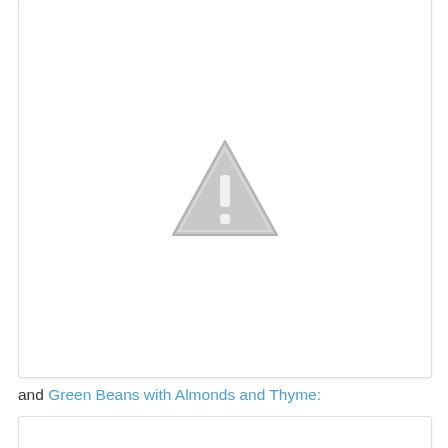[Figure (other): Broken/missing image placeholder showing a grey warning triangle with exclamation mark]
and Green Beans with Almonds and Thyme:
[Figure (other): Broken/missing image placeholder showing a grey warning triangle with exclamation mark]
Here's a shot of a full plate: